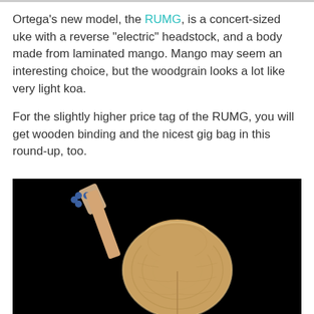Ortega's new model, the RUMG, is a concert-sized uke with a reverse "electric" headstock, and a body made from laminated mango. Mango may seem an interesting choice, but the woodgrain looks a lot like very light koa.
For the slightly higher price tag of the RUMG, you will get wooden binding and the nicest gig bag in this round-up, too.
[Figure (photo): Photo of the back of an Ortega RUMG ukulele against a black background, showing the laminated mango wood body and neck with tuning pegs visible at the top left.]